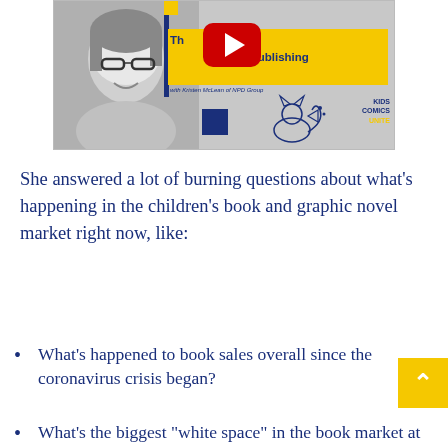[Figure (screenshot): YouTube video thumbnail for 'The Future of Publishing with Kristen McLean of NPD Group' featuring Kids Comics Unite branding. Shows a black and white photo of a woman with glasses, a yellow banner with the show title, a YouTube play button, decorative blue and yellow squares, a fox mascot illustration, and the Kids Comics Unite logo.]
She answered a lot of burning questions about what's happening in the children's book and graphic novel market right now, like:
What's happened to book sales overall since the coronavirus crisis began?
What's the biggest "white space" in the book market at this time?